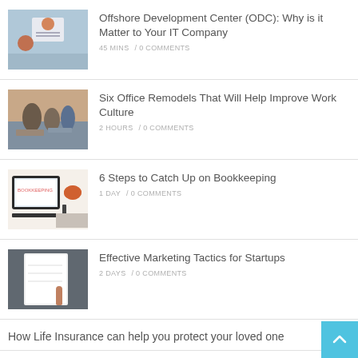[Figure (photo): Woman holding a presentation board, office setting]
Offshore Development Center (ODC): Why is it Matter to Your IT Company
45 MINS / 0 COMMENTS
[Figure (photo): People working together at a table in an office]
Six Office Remodels That Will Help Improve Work Culture
2 HOURS / 0 COMMENTS
[Figure (photo): Laptop showing bookkeeping software with a cup of tea on a desk]
6 Steps to Catch Up on Bookkeeping
1 DAY / 0 COMMENTS
[Figure (photo): Person writing on a whiteboard]
Effective Marketing Tactics for Startups
2 DAYS / 0 COMMENTS
How Life Insurance can help you protect your loved one